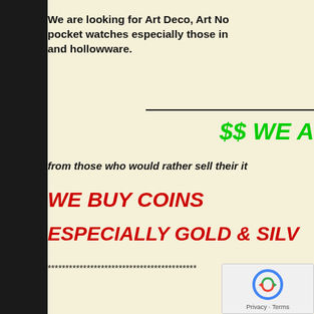We are looking for Art Deco, Art No... pocket watches especially those in... and hollowware.
$$ WE A...
from those who would rather sell their it...
WE BUY COINS
ESPECIALLY GOLD & SILV...
******************************************